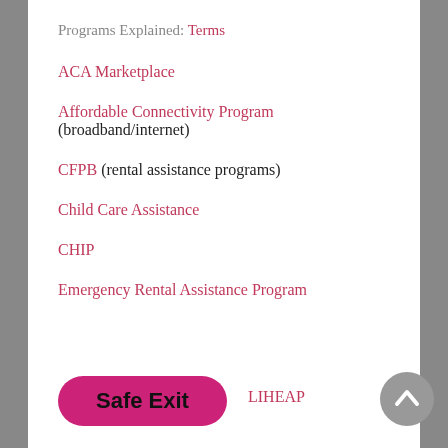Programs Explained: Terms
ACA Marketplace
Affordable Connectivity Program (broadband/internet)
CFPB (rental assistance programs)
Child Care Assistance
CHIP
Emergency Rental Assistance Program
LIHEAP